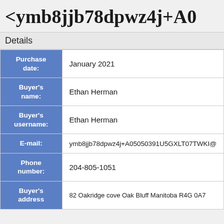<ymb8jjb78dpwz4j+A0...
Details
| Field | Value |
| --- | --- |
| Purchase date: | January 2021 |
| Buyer's name: | Ethan Herman |
| Buyer's username: | Ethan Herman |
| E-mail: | ymb8jjb78dpwz4j+A05050391U5GXLT07TWKI@ |
| Phone number: | 204-805-1051 |
| Buyer's address | 82 Oakridge cove Oak Bluff Manitoba R4G 0A7 |